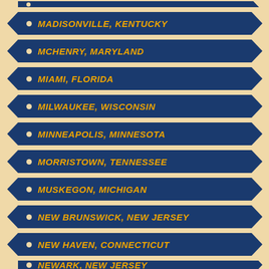MADISONVILLE, KENTUCKY
McHENRY, MARYLAND
MIAMI, FLORIDA
MILWAUKEE, WISCONSIN
MINNEAPOLIS, MINNESOTA
MORRISTOWN, TENNESSEE
MUSKEGON, MICHIGAN
NEW BRUNSWICK, NEW JERSEY
NEW HAVEN, CONNECTICUT
NEWARK, NEW JERSEY